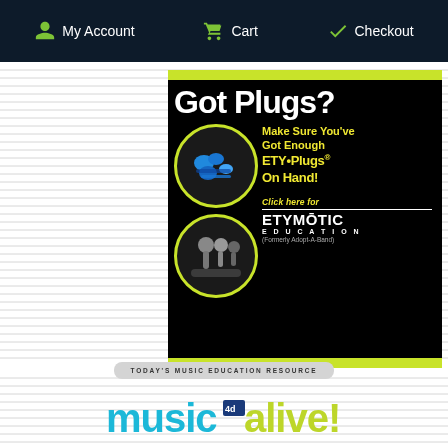My Account   Cart   Checkout
[Figure (screenshot): Etymotic ETY-Plugs advertisement banner on black background with yellow-green border. Large white text 'Got Plugs?' at top. Two circular images of earplug products outlined in yellow-green. Yellow text: 'Make Sure You've Got Enough ETY•Plugs® On Hand!' and 'Click here for ETYMOTIC EDUCATION (Formerly Adopt-A-Band)']
[Figure (logo): Music Alive! logo. Gray rounded bar with 'TODAY'S MUSIC EDUCATION RESOURCE' text. Below: 'music' in cyan block letters and 'alive!' in lime/yellow block letters with '4d' numeral badge.]